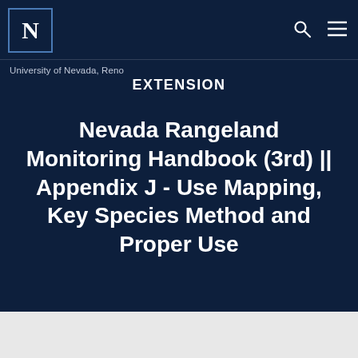University of Nevada, Reno EXTENSION
Nevada Rangeland Monitoring Handbook (3rd) || Appendix J - Use Mapping, Key Species Method and Proper Use